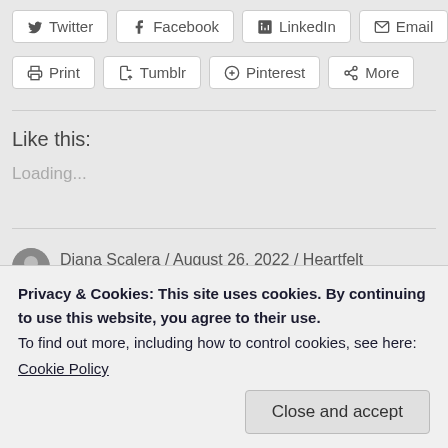Twitter | Facebook | LinkedIn | Email
Print | Tumblr | Pinterest | More
Like this:
Loading...
Diana Scalera / August 26, 2022 / Heartfelt Connection, Heartfelt Conversation / meditation
Privacy & Cookies: This site uses cookies. By continuing to use this website, you agree to their use.
To find out more, including how to control cookies, see here:
Cookie Policy
Close and accept